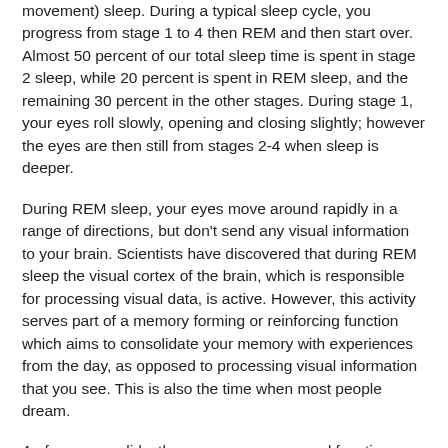movement) sleep. During a typical sleep cycle, you progress from stage 1 to 4 then REM and then start over.  Almost 50 percent of our total sleep time is spent in stage 2 sleep, while 20 percent is spent in REM sleep, and the remaining 30 percent in the other stages. During stage 1, your eyes roll slowly, opening and closing slightly; however the eyes are then still from stages 2-4 when sleep is deeper.
During REM sleep, your eyes move around rapidly in a range of directions, but don't send any visual information to your brain. Scientists have discovered that during REM sleep the visual cortex of the brain, which is responsible for processing visual data, is active. However, this activity serves part of a memory forming or reinforcing function which aims to consolidate your memory with experiences from the day, as opposed to processing visual information that you see. This is also the time when most people dream.
As for your eyelids, they cover your eyes and function as a shield protecting them from light. They also help preserve moisture on the cornea and prevent your eyes from drying out while your body is resting.